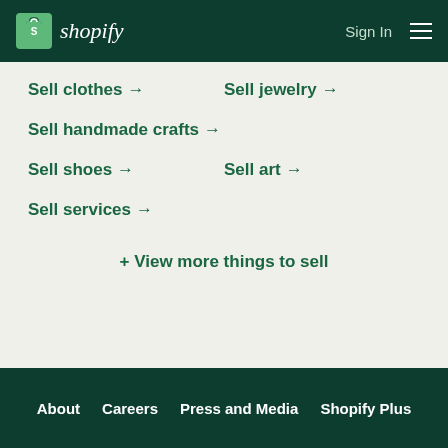shopify — Sign In
Sell clothes →
Sell jewelry →
Sell handmade crafts →
Sell shoes →
Sell art →
Sell services →
+ View more things to sell
About   Careers   Press and Media   Shopify Plus